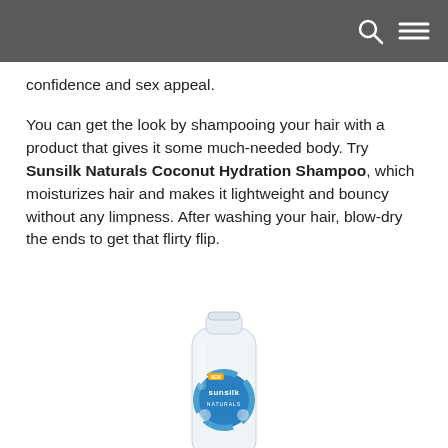confidence and sex appeal.
You can get the look by shampooing your hair with a product that gives it some much-needed body. Try Sunsilk Naturals Coconut Hydration Shampoo, which moisturizes hair and makes it lightweight and bouncy without any limpness. After washing your hair, blow-dry the ends to get that flirty flip.
[Figure (photo): A bottle of Sunsilk Naturals Coconut Hydration Shampoo, white bottle with blue circular label featuring coconut imagery and the Sunsilk Naturals branding.]